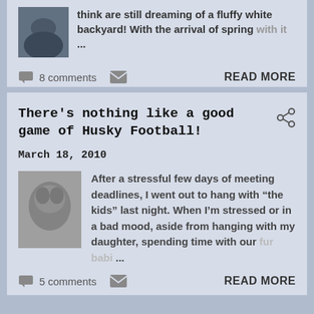think are still dreaming of a fluffy white backyard! With the arrival of spring with it ...
8 comments   READ MORE
There's nothing like a good game of Husky Football!
March 18, 2010
After a stressful few days of meeting deadlines, I went out to hang with “the kids” last night. When I’m stressed or in a bad mood, aside from hanging with my daughter, spending time with our fur babi...
5 comments   READ MORE